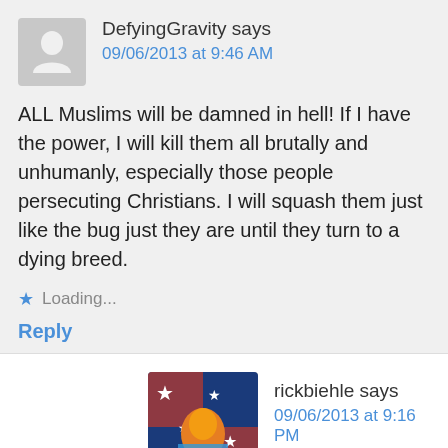DefyingGravity says
09/06/2013 at 9:46 AM
ALL Muslims will be damned in hell! If I have the power, I will kill them all brutally and unhumanly, especially those people persecuting Christians. I will squash them just like the bug just they are until they turn to a dying breed.
Loading...
Reply
rickbiehle says
09/06/2013 at 9:16 PM